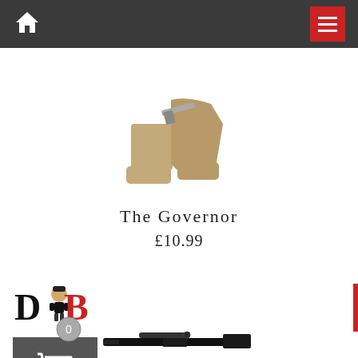Navigation bar with home icon and hamburger menu
[Figure (photo): Partial view of a tan/dark beige LEGO minifigure (The Governor) from the waist down, holding a gray accessory, against a white background]
The Governor
£10.99
[Figure (logo): Small LEGO minifigure logo with letters D and B in red/black, with a gray circle showing 0, and a gray shopping cart box widget below]
[Figure (photo): Partial view of a black LEGO weapon/accessory at the bottom of the page]